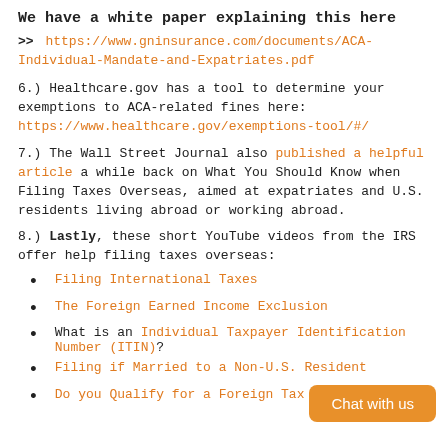We have a white paper explaining this here
>> https://www.gninsurance.com/documents/ACA-Individual-Mandate-and-Expatriates.pdf
6.) Healthcare.gov has a tool to determine your exemptions to ACA-related fines here: https://www.healthcare.gov/exemptions-tool/#/
7.) The Wall Street Journal also published a helpful article a while back on What You Should Know when Filing Taxes Overseas, aimed at expatriates and U.S. residents living abroad or working abroad.
8.) Lastly, these short YouTube videos from the IRS offer help filing taxes overseas:
Filing International Taxes
The Foreign Earned Income Exclusion
What is an Individual Taxpayer Identification Number (ITIN)?
Filing if Married to a Non-U.S. Resident
Do you Qualify for a Foreign Tax Credit?